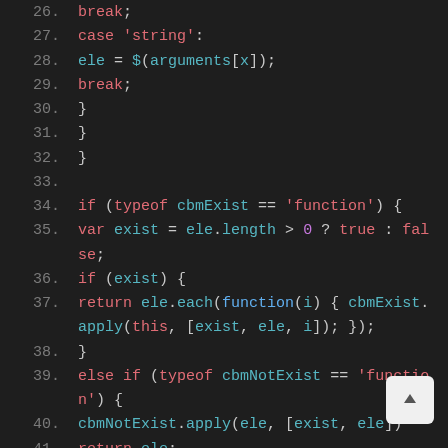Code listing lines 26-41: JavaScript source code showing switch/case and if/else if blocks with cbmExist and cbmNotExist callback handling.